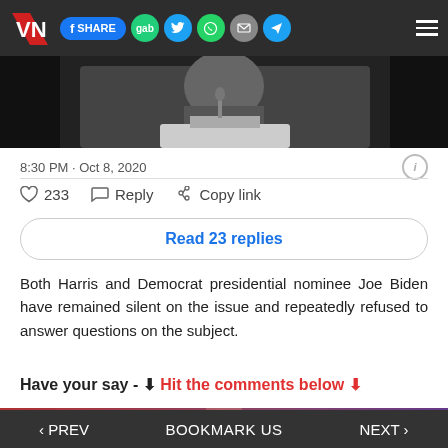VN | SHARE | gab | Twitter | WhatsApp | Mail | Telegram | Menu
[Figure (photo): Partial photo of a person at a podium/microphone, cropped]
8:30 PM · Oct 8, 2020
233  Reply  Copy link
Read 23 replies
Both Harris and Democrat presidential nominee Joe Biden have remained silent on the issue and repeatedly refused to answer questions on the subject.
Have your say - ⬇ Hit the comments below ⬇
[Figure (photo): Partial photo of a person, bottom of page. © press label visible.]
‹ PREV  BOOKMARK US  NEXT ›